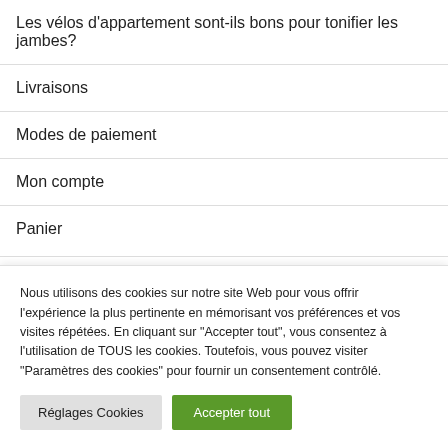Les vélos d'appartement sont-ils bons pour tonifier les jambes?
Livraisons
Modes de paiement
Mon compte
Panier
Nous utilisons des cookies sur notre site Web pour vous offrir l'expérience la plus pertinente en mémorisant vos préférences et vos visites répétées. En cliquant sur "Accepter tout", vous consentez à l'utilisation de TOUS les cookies. Toutefois, vous pouvez visiter "Paramètres des cookies" pour fournir un consentement contrôlé.
Réglages Cookies
Accepter tout